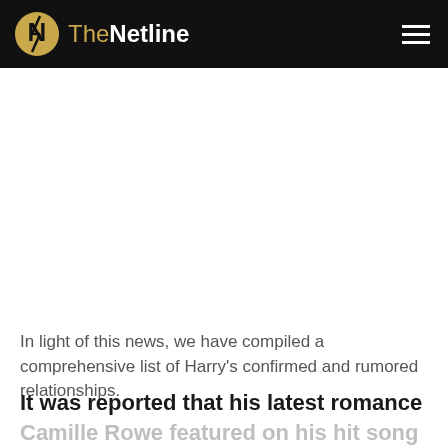TheNetline
In light of this news, we have compiled a comprehensive list of Harry's confirmed and rumored relationships.
It was reported that his latest romance
Camille Rowe featured on his hit song Charm